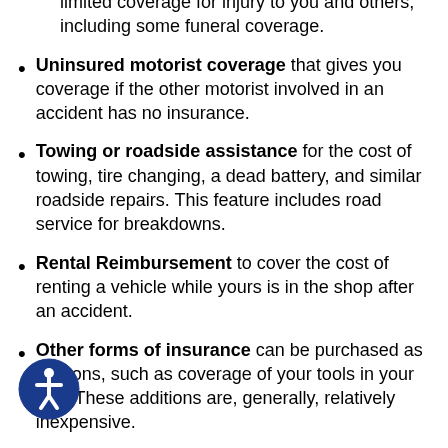limited coverage for injury to you and others, including some funeral coverage.
Uninsured motorist coverage that gives you coverage if the other motorist involved in an accident has no insurance.
Towing or roadside assistance for the cost of towing, tire changing, a dead battery, and similar roadside repairs. This feature includes road service for breakdowns.
Rental Reimbursement to cover the cost of renting a vehicle while yours is in the shop after an accident.
Other forms of insurance can be purchased as add-ons, such as coverage of your tools in your van. These additions are, generally, relatively inexpensive.
Umbrella policies are available that can increase your coverage over the basic liability